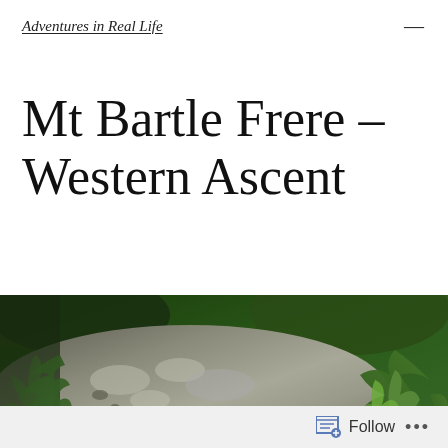Adventures in Real Life
Mt Bartle Frere – Western Ascent
[Figure (photo): Close-up photograph of a large mossy/lichen-covered grey rock with lush green ferns and tropical vegetation in the background]
Follow ...